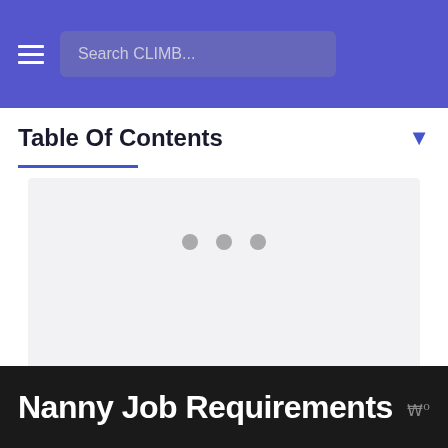Search CLIMB...
Table Of Contents
[Figure (other): Loading placeholder box with three grey dots indicating content is loading]
Related: In-Depth Nanny Salary Guide
Nanny Job Requirements